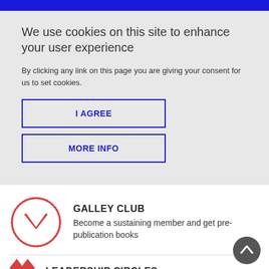We use cookies on this site to enhance your user experience
By clicking any link on this page you are giving your consent for us to set cookies.
I AGREE
MORE INFO
[Figure (logo): Galley Club red circular logo with a red chevron/bookmark icon inside]
GALLEY CLUB
Become a sustaining member and get pre-publication books
[Figure (logo): Leadership Circles partial red chevron logo]
LEADERSHIP CIRCLES